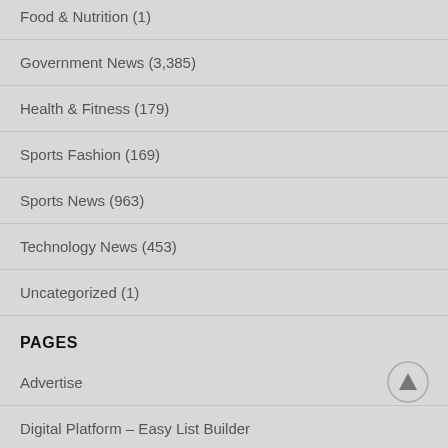Food & Nutrition (1)
Government News (3,385)
Health & Fitness (179)
Sports Fashion (169)
Sports News (963)
Technology News (453)
Uncategorized (1)
PAGES
Advertise
Digital Platform – Easy List Builder
How to Make a Great Side-Income Online in 2020